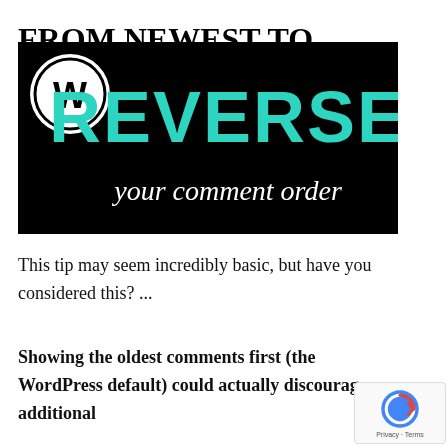FROM NEWEST TO OLDEST
[Figure (illustration): WordPress promotional banner with black background. WordPress logo (W in circle) in top-left corner. Large teal/cyan text 'REVERSE' in bold uppercase. Below in white cursive/script font: 'your comment order']
This tip may seem incredibly basic, but have you considered this? ...
Showing the oldest comments first (the WordPress default) could actually discourage additional